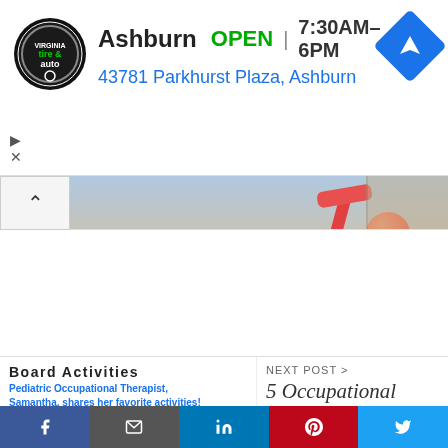[Figure (infographic): Ad banner for Virginia Tire & Auto Ashburn location showing logo, OPEN status, hours 7:30AM-6PM, address 43781 Parkhurst Plaza Ashburn, and navigation icon]
Ashburn  OPEN | 7:30AM–6PM
43781 Parkhurst Plaza, Ashburn
[Figure (photo): Children sitting on floor in therapy room with a red slide and orange ball visible in background]
5 Questions To Ask Your Pediatric Physical Therapist For The Best Experience
Board Activities
Pediatric Occupational Therapist, Samantha, shares her favorite activities!
NEXT POST >
5 Occupational Therapy Scooter Activities